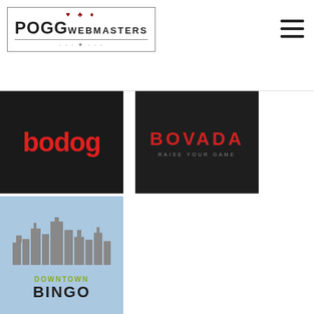[Figure (logo): POGG WEBMASTERS logo with card suit icons and decorative border]
[Figure (logo): Bodog casino logo - red text on dark background]
[Figure (logo): Bovada RAISE YOUR GAME logo - red text on dark background]
[Figure (logo): Downtown Bingo logo - city skyline on light blue background]
[Figure (logo): Slots.lv logo - red text on white background with border]